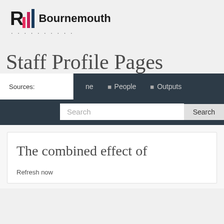[Figure (logo): Bournemouth University logo with stylized R and colored bar chart graphic followed by 'Bournemouth' text]
Staff Profile Pages
Sources:  he  People  Outputs  Search  Search
The combined effect of
Refresh now